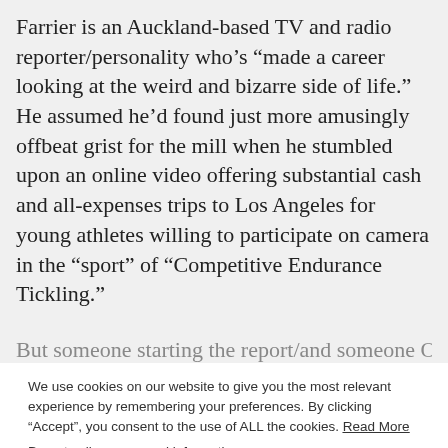Farrier is an Auckland-based TV and radio reporter/personality who’s “made a career looking at the weird and bizarre side of life.” He assumed he’d found just more amusingly offbeat grist for the mill when he stumbled upon an online video offering substantial cash and all-expenses trips to Los Angeles for young athletes willing to participate on camera in the “sport” of “Competitive Endurance Tickling.”
But someone starting the report/and someone O’B...
We use cookies on our website to give you the most relevant experience by remembering your preferences. By clicking “Accept”, you consent to the use of ALL the cookies. Read More
Do not sell my personal information.